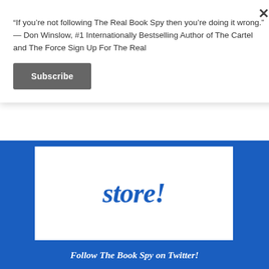“If you’re not following The Real Book Spy then you’re doing it wrong.” — Don Winslow, #1 Internationally Bestselling Author of The Cartel and The Force Sign Up For The Real
Subscribe
[Figure (screenshot): Blue banner with white inner box containing the word 'store!' in large bold blue italic text]
Follow The Book Spy on Twitter!